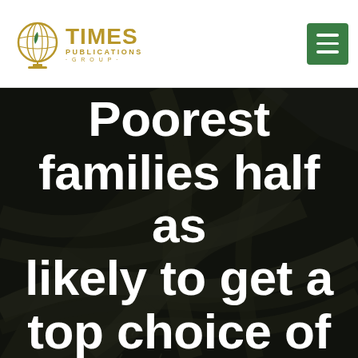[Figure (logo): Times Publications Group logo with globe icon and gold text]
[Figure (photo): Aerial dark overhead view of a highway interchange with multiple lanes and roads crossing]
Poorest families half as likely to get a [top choice of]